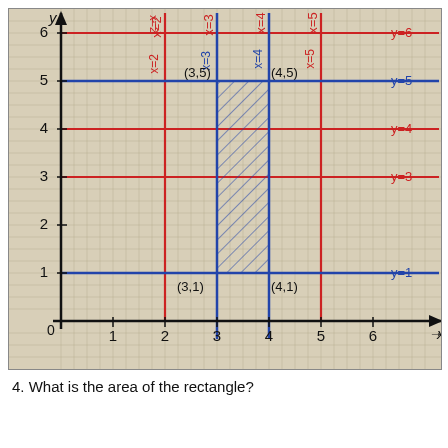[Figure (other): Coordinate plane graph on graph paper showing a rectangle with vertices at (3,1), (4,1), (4,5), (3,5) shaded with diagonal hatching. Multiple horizontal lines y=1, y=3, y=4, y=5, y=6 in red and blue, and vertical lines x=2, x=3, x=4, x=5 in red and blue. Points labeled (3,5), (4,5), (3,1), (4,1). Axes labeled with numbers 1-6. Arrow pointing right labeled x, arrow pointing up labeled y.]
4. What is the area of the rectangle?